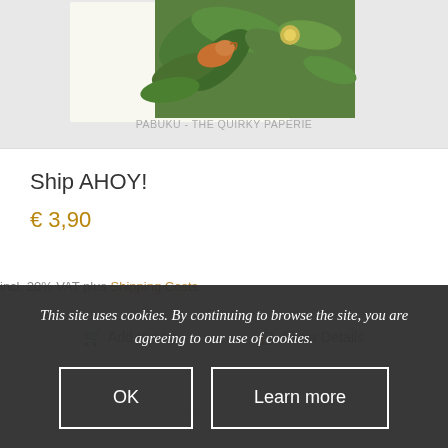[Figure (photo): Product image showing a bird and tropical flowers/leaves illustration on a card, with seller label 'PABUKU - THE QUIRKY PAPERIE' below the image area]
PABUKU - THE QUIRKY PAPERIE
Ship AHOY!
€ 3,90
incl. 20% VAT plus Shipping Costs
Add to cart
Show Details
This site uses cookies. By continuing to browse the site, you are agreeing to our use of cookies.
OK
Learn more